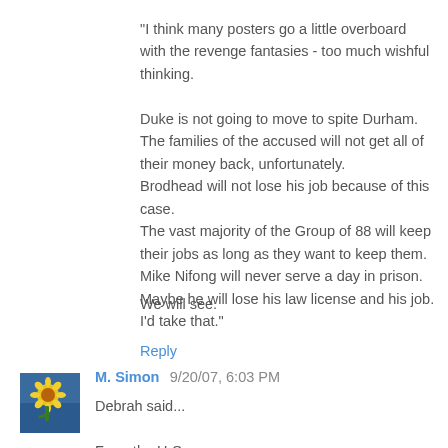"I think many posters go a little overboard with the revenge fantasies - too much wishful thinking.

Duke is not going to move to spite Durham.
The families of the accused will not get all of their money back, unfortunately.
Brodhead will not lose his job because of this case.
The vast majority of the Group of 88 will keep their jobs as long as they want to keep them.
Mike Nifong will never serve a day in prison. Maybe he will lose his law license and his job. I'd take that."
We will see.
Reply
M. Simon 9/20/07, 6:03 PM
Debrah said...

From the H-S: